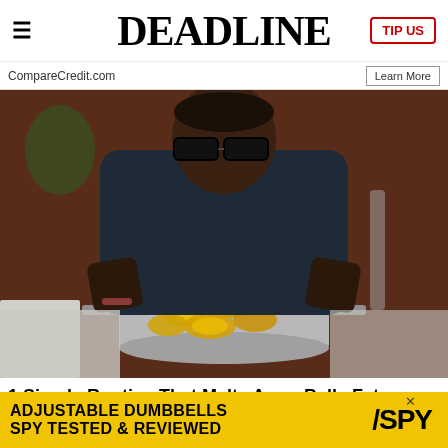≡  DEADLINE  TIP US
CompareCredit.com   Learn More
[Figure (photo): Man holding a pot filled with sliced lemons, wearing glasses and a dark dotted shirt, in a kitchen setting with brick wall background.]
1 Simple Routine That Melts Away Belly Fat
[Figure (infographic): Yellow advertisement banner: ADJUSTABLE DUMBBELLS SPY TESTED & REVIEWED with SPY logo]